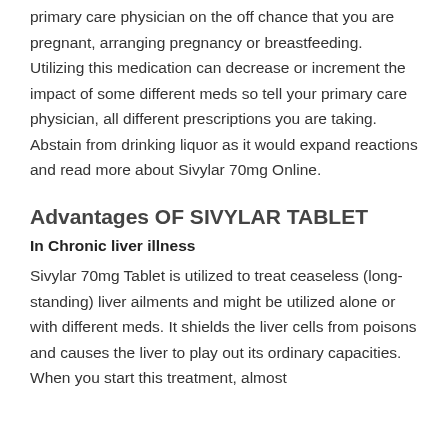primary care physician on the off chance that you are pregnant, arranging pregnancy or breastfeeding. Utilizing this medication can decrease or increment the impact of some different meds so tell your primary care physician, all different prescriptions you are taking. Abstain from drinking liquor as it would expand reactions and read more about Sivylar 70mg Online.
Advantages OF SIVYLAR TABLET
In Chronic liver illness
Sivylar 70mg Tablet is utilized to treat ceaseless (long-standing) liver ailments and might be utilized alone or with different meds. It shields the liver cells from poisons and causes the liver to play out its ordinary capacities. When you start this treatment, almost